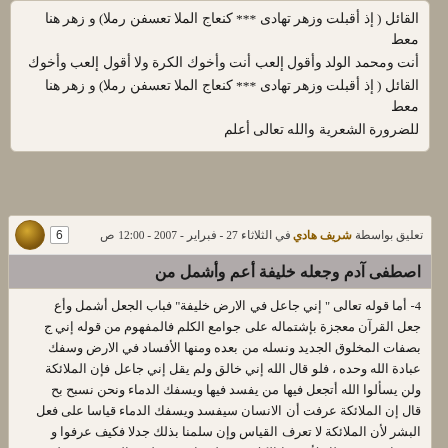القائل ( إذ أقبلت وزهر تهادى *** كنعاج الملا تعسفن رملا) و زهر هنا معطوفة على قوله تعالى إذ قبل إذنقل إلعب الكرة ولا أقول إلعب وأخوك أنت ومحمد الولد وأقول إلعب أنت وأخوك الكرة ولا أقول إلعب وأخوك للضرورة الشعرية والله تعالى أعلم
تعليق بواسطة شريف هادي في الثلاثاء 27 - فبراير - 2007 - 12:00 ص
اصطفى آدم وجعله خليفة أعم وأشمل من
4- أما قوله تعالى " إني جاعل في الارض خليفة" فباب الجعل أشمل وأعم من جعل القرآن معجزة بإشتماله على جوامع الكلم فالمفهوم من قوله إني جاعل بصفات المخلوق الجديد ونسله من بعده ومنها الأفساد في الارض وسفك الدماء عبادة الله وحده ، فلو قال الله إني خالق ولم يقل إني جاعل فإن الملائكة ولن يسألوا الله أتجعل فيها من يفسد فيها ويسفك الدماء ونحن نسبح بحمدك قال إن الملائكة عرفت أن الانسان سيفسد ويسفك الدماء قياسا على فعل الجن البشر لأن الملائكة لا تعرف القياس وإن سلمنا بذلك جدلا فكيف عرفوا ونحن نسبح بحمدك ونقدس لك لأن هذا الكلام شرطه غائب ومعلوم بالضرورة من لفظ إني جاعل فكان الرد ومنحن نسبح بحمدك ونقدس بعقبال الانتقال إل